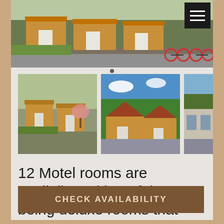[Figure (photo): Hero photo of motel exterior with log cabin style buildings and bicycles parked outside. Dark hamburger menu button in top-right corner.]
[Figure (photo): Three thumbnail photos of motel cabin buildings exterior views.]
12 Motel rooms are availalbe, with 6 of them being deluxe rooms that include a full kitchenette.
CHECK AVAILABILITY